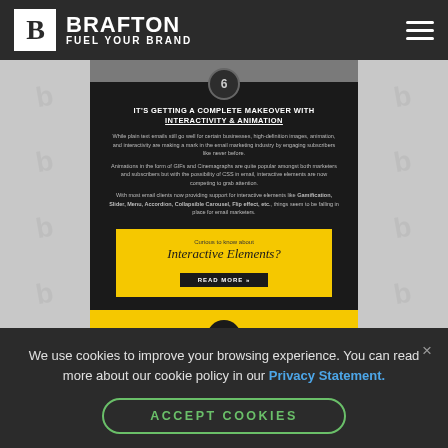BRAFTON FUEL YOUR BRAND
[Figure (screenshot): Screenshot of Brafton blog article page showing section 6 about email interactivity and animation, with a yellow CTA box and partial section 7 below]
We use cookies to improve your browsing experience. You can read more about our cookie policy in our Privacy Statement.
ACCEPT COOKIES